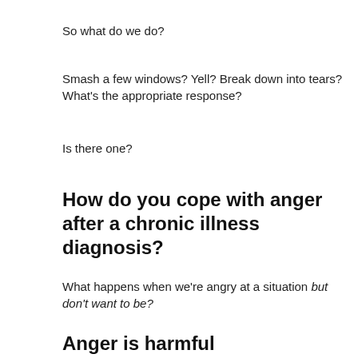So what do we do?
Smash a few windows? Yell? Break down into tears? What's the appropriate response?
Is there one?
How do you cope with anger after a chronic illness diagnosis?
What happens when we're angry at a situation but don't want to be?
Anger is harmful